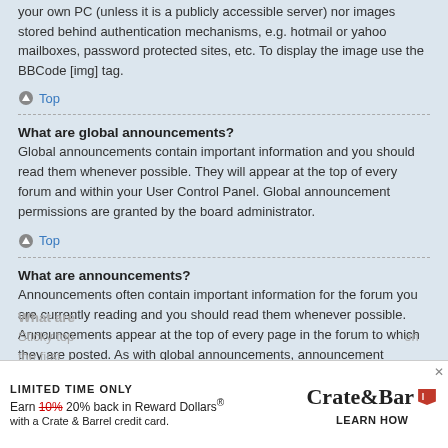your own PC (unless it is a publicly accessible server) nor images stored behind authentication mechanisms, e.g. hotmail or yahoo mailboxes, password protected sites, etc. To display the image use the BBCode [img] tag.
Top
What are global announcements?
Global announcements contain important information and you should read them whenever possible. They will appear at the top of every forum and within your User Control Panel. Global announcement permissions are granted by the board administrator.
Top
What are announcements?
Announcements often contain important information for the forum you are currently reading and you should read them whenever possible. Announcements appear at the top of every page in the forum to which they are posted. As with global announcements, announcement permissions are granted by the board administrator.
Top
What are
Sticky top
[Figure (infographic): Advertisement banner: LIMITED TIME ONLY - Earn 10% 20% back in Reward Dollars with a Crate & Barrel credit card. LEARN HOW]